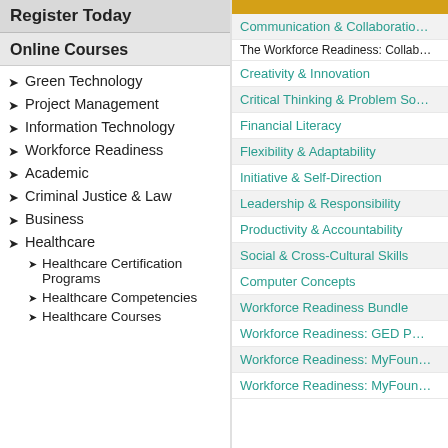Register Today
Online Courses
Green Technology
Project Management
Information Technology
Workforce Readiness
Academic
Criminal Justice & Law
Business
Healthcare
Healthcare Certification Programs
Healthcare Competencies
Healthcare Courses
Communication & Collaboration
The Workforce Readiness: Collab...
Creativity & Innovation
Critical Thinking & Problem Solving
Financial Literacy
Flexibility & Adaptability
Initiative & Self-Direction
Leadership & Responsibility
Productivity & Accountability
Social & Cross-Cultural Skills
Computer Concepts
Workforce Readiness Bundle
Workforce Readiness: GED P...
Workforce Readiness: MyFoundation...
Workforce Readiness: MyFoundation...